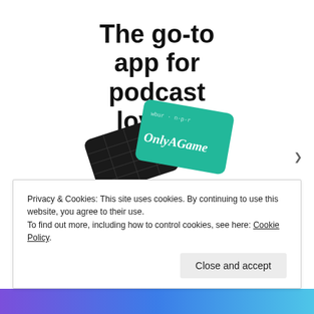The go-to app for podcast lovers.
Download now
[Figure (illustration): Two podcast app cards/tiles shown at an angle: one dark/black with a grid pattern, one teal/green with cursive text 'OnlyAGame' and small text 'wbur · n·p·r']
Privacy & Cookies: This site uses cookies. By continuing to use this website, you agree to their use.
To find out more, including how to control cookies, see here: Cookie Policy
Close and accept